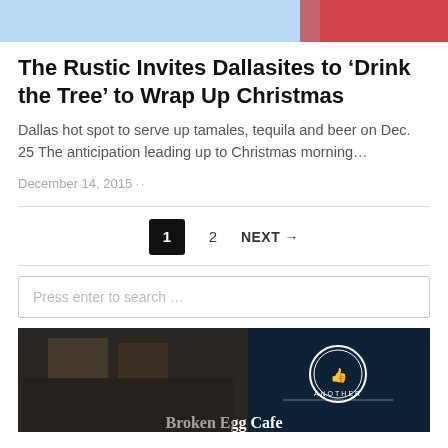[Figure (photo): Top portion of a Christmas-themed image with blue and red colors]
The Rustic Invites Dallasites to ‘Drink the Tree’ to Wrap Up Christmas
Dallas hot spot to serve up tamales, tequila and beer on Dec. 25 The anticipation leading up to Christmas morning…
December 14, 2015 · ·
1  2  NEXT →
Press enter to search …
[Figure (photo): Interior restaurant image with dark ceiling and Another Broken Egg Cafe logo/text visible]